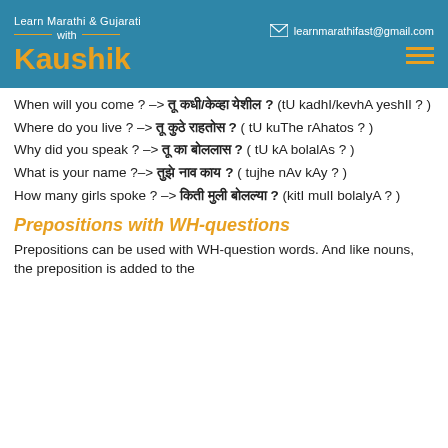Learn Marathi & Gujarati with Kaushik | learnmarathifast@gmail.com
When will you come ? -> तू कधी/केव्हा येशील ? (tU kadhI/kevhA yeshIl ? )
Where do you live ? -> तू कुठे राहतोस ? ( tU kuThe rAhatos ? )
Why did you speak ? -> तू का बोललास ? ( tU kA bolalAs ? )
What is your name ?-> तुझे नाव काय ? ( tujhe nAv kAy ? )
How many girls spoke ? -> किती मुली बोलल्या ? (kitI mulI bolalyA ? )
Prepositions with WH-questions
Prepositions can be used with WH-question words. And like nouns, the preposition is added to the